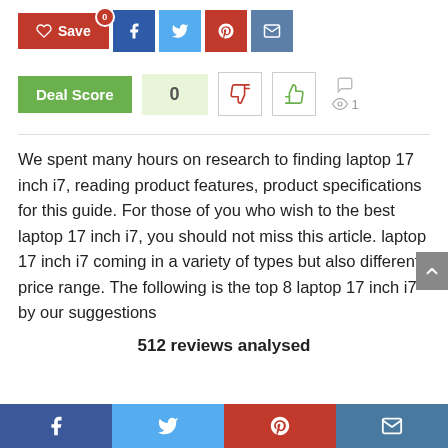[Figure (screenshot): Social share buttons row: Save (red), Facebook (dark blue), Twitter (light blue), Pinterest (red), Email (steel blue)]
[Figure (infographic): Deal Score widget showing score of 0, thumbs-down button, thumbs-up button, comment icon, eye icon with count 1]
We spent many hours on research to finding laptop 17 inch i7, reading product features, product specifications for this guide. For those of you who wish to the best laptop 17 inch i7, you should not miss this article. laptop 17 inch i7 coming in a variety of types but also different price range. The following is the top 8 laptop 17 inch i7 by our suggestions
512 reviews analysed
[Figure (screenshot): Bottom share bar with Facebook, Twitter, Pinterest, Email icons]